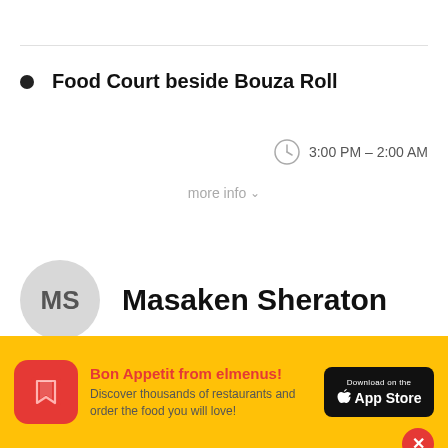Food Court beside Bouza Roll
3:00 PM – 2:00 AM
more info
MS
Masaken Sheraton
8 Shaheed Sayed Zakaria, Between TBS and Cilantro
Bon Appetit from elmenus! Discover thousands of restaurants and order the food you will love!